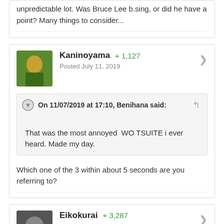unpredictable lot. Was Bruce Lee b.sing, or did he have a point? Many things to consider...
Kaninoyama +1,127 Posted July 11, 2019
On 11/07/2019 at 17:10, Benihana said: That was the most annoyed WO TSUITE i ever heard. Made my day.
Which one of the 3 within about 5 seconds are you referring to?
Eikokurai +3,287 Posted July 11, 2019